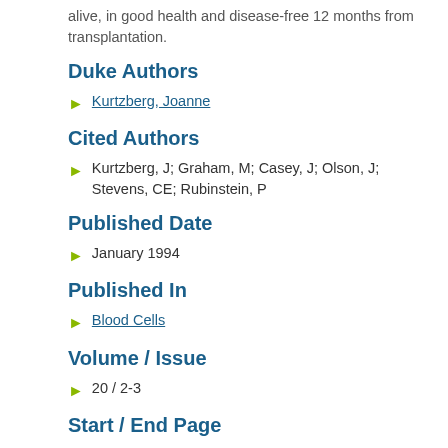alive, in good health and disease-free 12 months from transplantation.
Duke Authors
Kurtzberg, Joanne
Cited Authors
Kurtzberg, J; Graham, M; Casey, J; Olson, J; Stevens, CE; Rubinstein, P
Published Date
January 1994
Published In
Blood Cells
Volume / Issue
20 / 2-3
Start / End Page